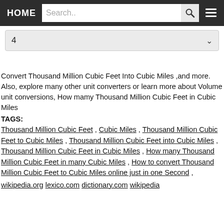HOME | Search.. | [search icon] | [menu icon]
4
Convert Thousand Million Cubic Feet Into Cubic Miles ,and more. Also, explore many other unit converters or learn more about Volume unit conversions, How mamy Thousand Million Cubic Feet in Cubic Miles
TAGS:
Thousand Million Cubic Feet , Cubic Miles , Thousand Million Cubic Feet to Cubic Miles , Thousand Million Cubic Feet into Cubic Miles , Thousand Million Cubic Feet in Cubic Miles , How many Thousand Million Cubic Feet in many Cubic Miles , How to convert Thousand Million Cubic Feet to Cubic Miles online just in one Second ,
wikipedia.org lexico.com dictionary.com wikipedia